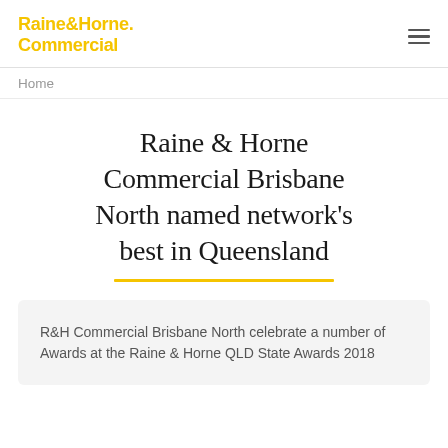Raine&Horne. Commercial
Home
Raine & Horne Commercial Brisbane North named network's best in Queensland
R&H Commercial Brisbane North celebrate a number of Awards at the Raine & Horne QLD State Awards 2018